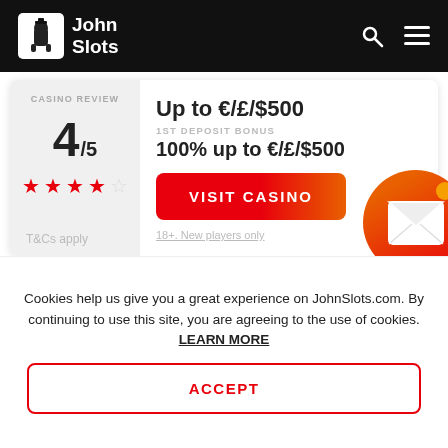John Slots
CASINO REVIEW
4/5
Up to €/£/$500
1ST DEPOSIT BONUS
100% up to €/£/$500
VISIT CASINO
18+. New players only
[Figure (illustration): Red envelope/email icon in a red-orange circular bubble]
T&Cs apply
Cookies help us give you a great experience on JohnSlots.com. By continuing to use this site, you are agreeing to the use of cookies. LEARN MORE
ACCEPT